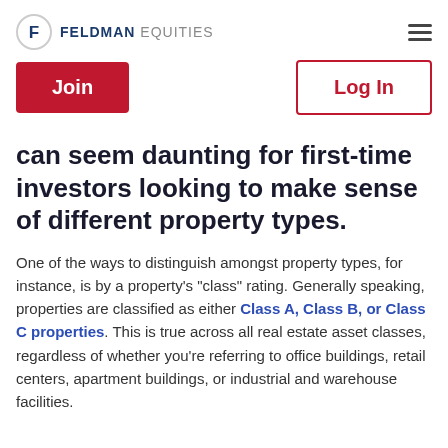FELDMAN EQUITIES
Join | Log In
can seem daunting for first-time investors looking to make sense of different property types.
One of the ways to distinguish amongst property types, for instance, is by a property's “class” rating. Generally speaking, properties are classified as either Class A, Class B, or Class C properties. This is true across all real estate asset classes, regardless of whether you’re referring to office buildings, retail centers, apartment buildings, or industrial and warehouse facilities.